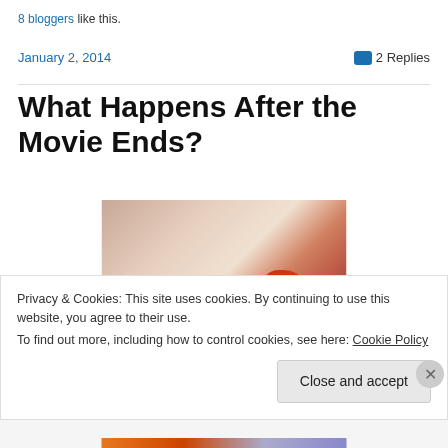8 bloggers like this.
January 2, 2014
2 Replies
What Happens After the Movie Ends?
[Figure (photo): Close-up photo of a person's lower face near lips and chin, with a red feathery or fluffy object in the lower right]
Privacy & Cookies: This site uses cookies. By continuing to use this website, you agree to their use.
To find out more, including how to control cookies, see here: Cookie Policy
Close and accept